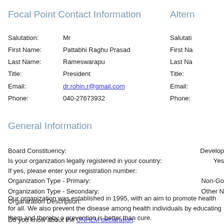Focal Point Contact Information
Altern
Salutation: Mr
First Name: Pattabhi Raghu Prasad
Last Name: Rameswarapu
Title: President
Email: dr.rohin.r@gmail.com
Phone: 040-27673932
Salutati
First Na
Last Na
Title:
Email:
Phone:
General Information
Board Constituency:
Develop
Is your organization legally registered in your country:
Yes
If yes, please enter your registration number:
Organization Type - Primary:
Non-Go
Organization Type - Secondary:
Other N
Organization Description:
Our organization was established in 1995, with an aim to promote health for all. We also prevent the disease among health individuals by educating them and thereby o prevention is better than cure.
Do you know about the UNHLM declaration: